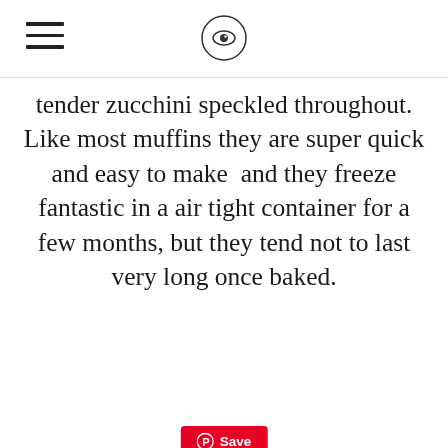[hamburger menu icon] [circular logo/icon]
tender zucchini speckled throughout. Like most muffins they are super quick and easy to make  and they freeze fantastic in a air tight container for a few months, but they tend not to last very long once baked.
[Figure (photo): A metal bowl containing a mound of dry mixed flour/batter ingredients, set on a speckled granite countertop surface, viewed from above.]